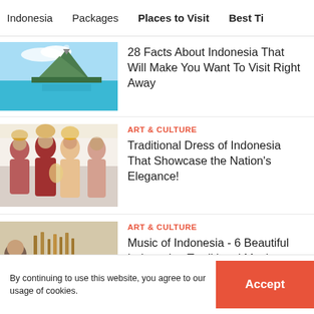Indonesia   Packages   Places to Visit   Best Ti
[Figure (photo): Volcano island with turquoise water in foreground]
28 Facts About Indonesia That Will Make You Want To Visit Right Away
[Figure (photo): Group of people in traditional Indonesian dress]
ART & CULTURE
Traditional Dress of Indonesia That Showcase the Nation's Elegance!
[Figure (photo): Person playing traditional Indonesian instrument near water]
ART & CULTURE
Music of Indonesia - 6 Beautiful Indonesian Traditional Music Forms
[Figure (photo): Map of Indonesia]
ART & CULTURE
Languages of Indonesia: The
By continuing to use this website, you agree to our usage of cookies.